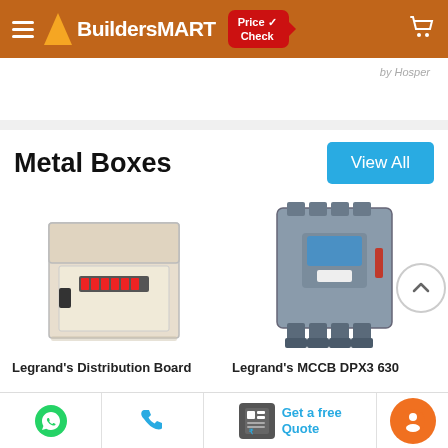BuildersMART
by Hosper
Metal Boxes
[Figure (photo): Legrand's Distribution Board - open metal electrical panel box with circuit breakers]
Legrand's Distribution Board
[Figure (photo): Legrand's MCCB DPX3 630 - large molded case circuit breaker in grey]
Legrand's MCCB DPX3 630
WhatsApp | Phone | Get a free Quote